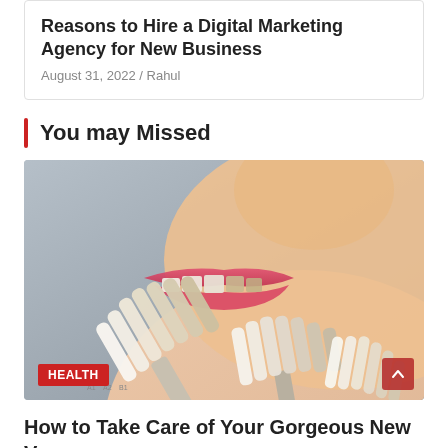Reasons to Hire a Digital Marketing Agency for New Business
August 31, 2022 / Rahul
You may Missed
[Figure (photo): Close-up profile of a person's lower face holding dental veneer shade samples up to their teeth. Multiple porcelain veneer shades arranged in a fan, demonstrating tooth color matching. A red HEALTH badge appears at bottom left.]
How to Take Care of Your Gorgeous New Veneers